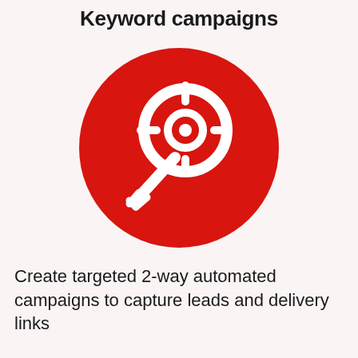Keyword campaigns
[Figure (illustration): Red circle icon containing a white key overlaid with a white crosshair/target symbol, representing keyword campaigns]
Create targeted 2-way automated campaigns to capture leads and delivery links